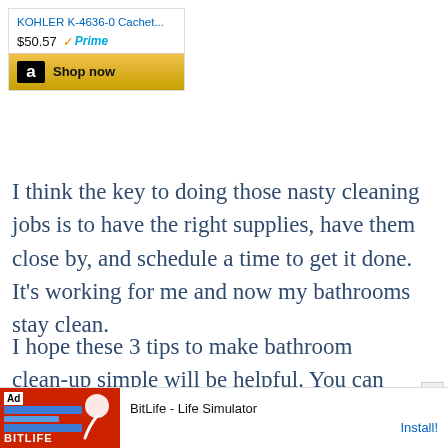[Figure (screenshot): Amazon product widget showing KOHLER K-4636-0 Cachet... priced at $50.57 with Prime logo and Shop now button with Amazon logo]
I think the key to doing those nasty cleaning jobs is to have the right supplies, have them close by, and schedule a time to get it done. It’s working for me and now my bathrooms stay clean.
I hope these 3 tips to make bathroom clean-up simple will be helpful. You can apply this to lots of things that you do in your home. Have all of your kitchen supplies under the kitchen sink.
[Figure (screenshot): BitLife - Life Simulator advertisement at bottom of page with red background and Install! call to action]